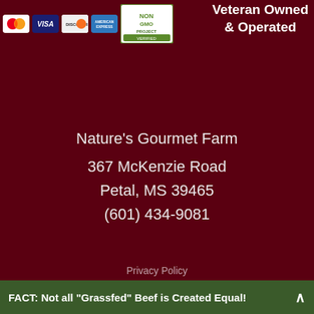[Figure (logo): Payment method logos: MasterCard, Visa, Discover, American Express, and Non-GMO Project Verified badge]
Veteran Owned & Operated
Nature's Gourmet Farm
367 McKenzie Road
Petal, MS 39465
(601) 434-9081
Privacy Policy
FACT: Not all "Grassfed" Beef is Created Equal!